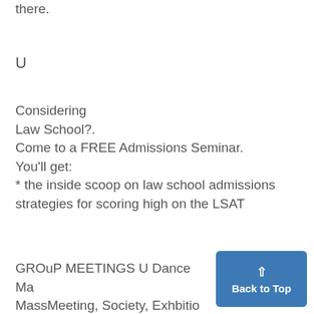there.
U
Considering Law School?. Come to a FREE Admissions Seminar. You'll get:
* the inside scoop on law school admissions strategies for scoring high on the LSAT
GROuP MEETINGS U Dance Ma MassMeeting, Society, Exhbitio Rackham